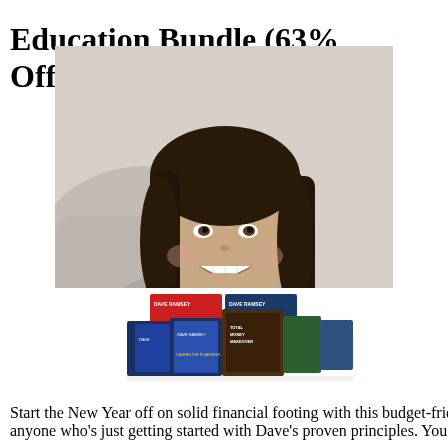Education Bundle (63% Off)
[Figure (photo): A smiling woman lying on a couch, and below her a collection of Dave Ramsey books and DVDs including 'Total Money Makeover' and 'Cash Flow Planning']
Start the New Year off on solid financial footing with this budget-friendly bundle from money guru Dave Ramsey. This is a great kit for anyone who's just getting started with Dave's proven principles. You'll receive The Total